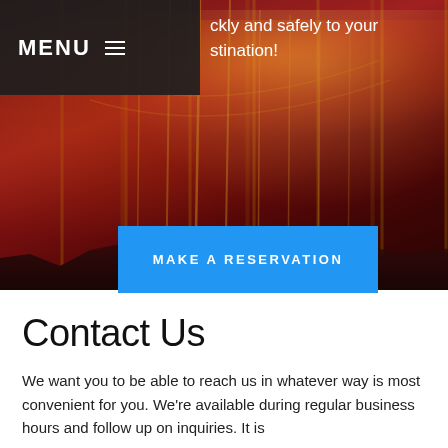[Figure (photo): Hero banner showing a nighttime city bridge scene (resembling the Golden Gate Bridge) with warm red and orange tones, city lights in background, dark silhouette of hills in foreground]
MENU ≡
ckly and safely to your stination!
MAKE A RESERVATION
Contact Us
We want you to be able to reach us in whatever way is most convenient for you. We're available during regular business hours and follow up on inquiries. It is